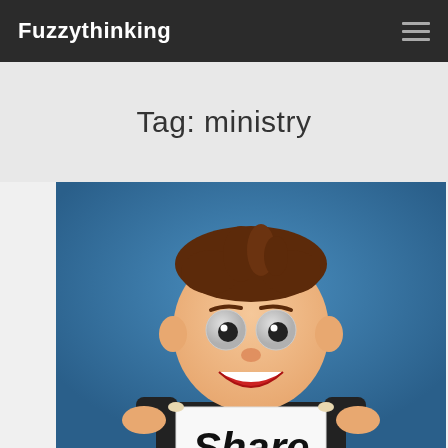Fuzzythinking
Tag: ministry
[Figure (illustration): Cartoon businessman holding a sign that reads 'Share', shown from waist up against a blue gradient background, wearing a dark suit with blue tie, with exaggerated friendly facial features.]